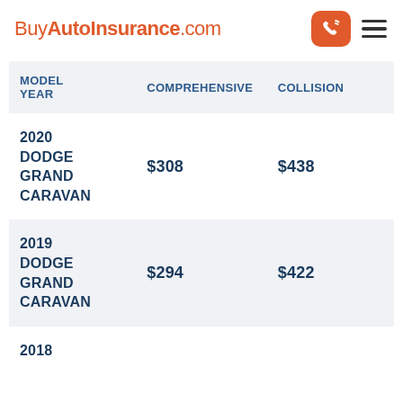BuyAutoInsurance.com
| MODEL YEAR | COMPREHENSIVE | COLLISION |
| --- | --- | --- |
| 2020 DODGE GRAND CARAVAN | $308 | $438 |
| 2019 DODGE GRAND CARAVAN | $294 | $422 |
| 2018 |  |  |